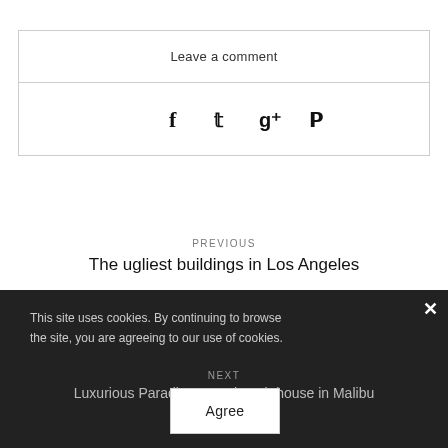Leave a comment
[Figure (infographic): Social sharing icons: Facebook, Twitter, Google+, Pinterest]
PREVIOUS
The ugliest buildings in Los Angeles
This site uses cookies. By continuing to browse the site, you are agreeing to our use of cookies.
NEXT
Luxurious Paradise Cove beach house in Malibu
Agree